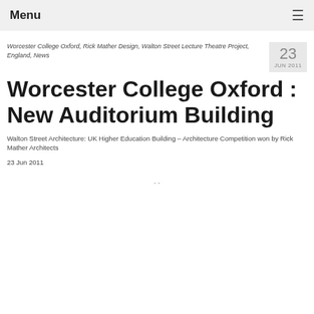Menu ≡
Worcester College Oxford, Rick Mather Design, Walton Street Lecture Theatre Project, England, News
23 JUN 2011
Worcester College Oxford : New Auditorium Building
Walton Street Architecture: UK Higher Education Building – Architecture Competition won by Rick Mather Architects
23 Jun 2011
- -